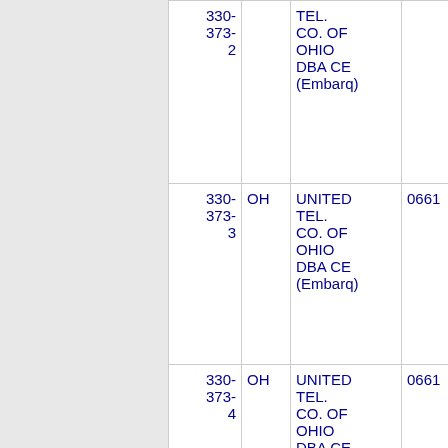| NXX | ST | Company | Code | City |
| --- | --- | --- | --- | --- |
| 330-373-2 | OH | UNITED TEL. CO. OF OHIO DBA CE (Embarq) | 0661 | WARREN |
| 330-373-3 | OH | UNITED TEL. CO. OF OHIO DBA CE (Embarq) | 0661 | WARREN |
| 330-373-4 | OH | UNITED TEL. CO. OF OHIO DBA CE (Embarq) | 0661 | WARREN |
| 330- | OH | UNITED | 0661 | WARREN |